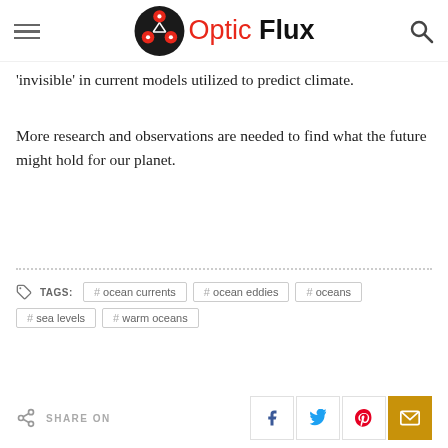Optic Flux
'invisible' in current models utilized to predict climate.
More research and observations are needed to find what the future might hold for our planet.
TAGS: # ocean currents  # ocean eddies  # oceans  # sea levels  # warm oceans
SHARE ON